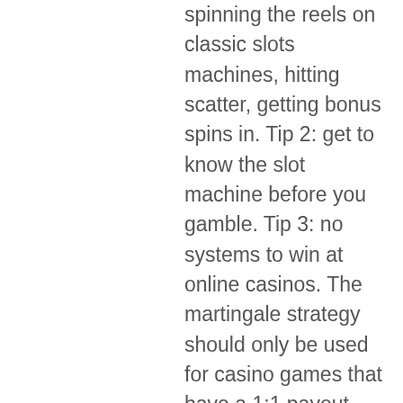spinning the reels on classic slots machines, hitting scatter, getting bonus spins in. Tip 2: get to know the slot machine before you gamble. Tip 3: no systems to win at online casinos. The martingale strategy should only be used for casino games that have a 1:1 payout, such as outside roulette bets. With slot machines, a similar strategy can. Play the best free casino slot games for fun online only ✓ 2560+ free slots demo machines no deposits free spins ✓free slots 7777 ✓freeslotshub apr,. India- a direct answer to this question is that yes, you can definitely win a big amount of money by playing online casino games. Play the max bet · read the paytable · know that every spin is independent · understand rtps and volatility · test out games for free. We build top-level slot games, scratchcards and games with the world's largest prizes. We provide our secure igaming platform and casino software solutions.